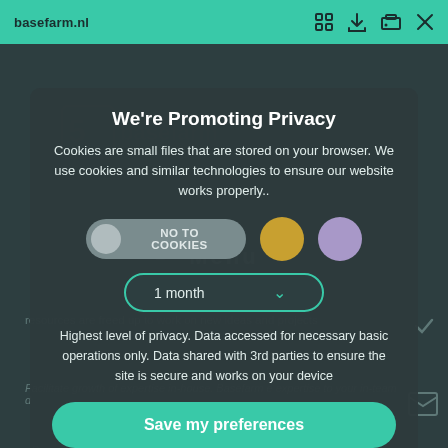basefarm.nl
[Figure (screenshot): Cookie consent modal overlay on basefarm.nl website. Shows 'We're Promoting Privacy' title, cookie description text, 'NO TO COOKIES' toggle button, color selector circles (gold and lavender), a '1 month' dropdown, privacy level description text, and a 'Save my preferences' button. Footer has Preferences toggle and Privacy policy/Cookie policy links.]
We're Promoting Privacy
Cookies are small files that are stored on your browser. We use cookies and similar technologies to ensure our website works properly..
NO TO COOKIES
1 month
Highest level of privacy. Data accessed for necessary basic operations only. Data shared with 3rd parties to ensure the site is secure and works on your device
Save my preferences
Preferences
Privacy policy and Cookie policy